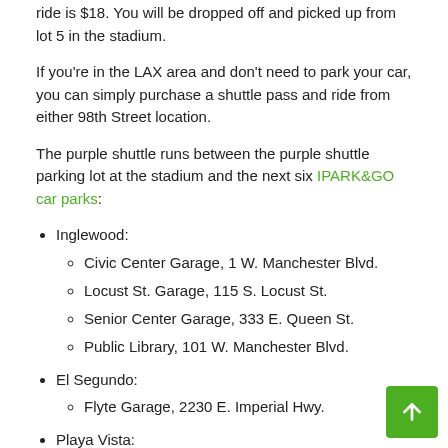ride is $18. You will be dropped off and picked up from lot 5 in the stadium.
If you're in the LAX area and don't need to park your car, you can simply purchase a shuttle pass and ride from either 98th Street location.
The purple shuttle runs between the purple shuttle parking lot at the stadium and the next six IPARK&GO car parks:
Inglewood:
Civic Center Garage, 1 W. Manchester Blvd.
Locust St. Garage, 115 S. Locust St.
Senior Center Garage, 333 E. Queen St.
Public Library, 101 W. Manchester Blvd.
El Segundo:
Flyte Garage, 2230 E. Imperial Hwy.
Playa Vista:
Playa District Garage, 6870 Park Terrace